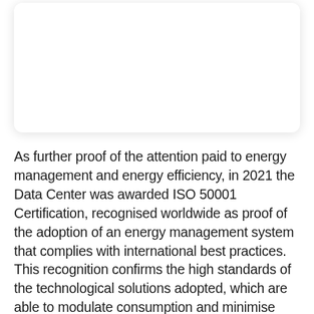[Figure (other): White rounded card/panel with shadow, no visible content]
As further proof of the attention paid to energy management and energy efficiency, in 2021 the Data Center was awarded ISO 50001 Certification, recognised worldwide as proof of the adoption of an energy management system that complies with international best practices. This recognition confirms the high standards of the technological solutions adopted, which are able to modulate consumption and minimise